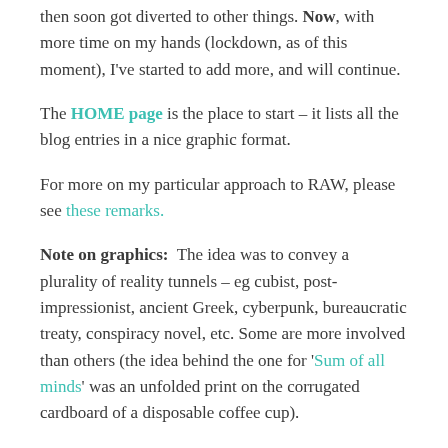then soon got diverted to other things. Now, with more time on my hands (lockdown, as of this moment), I've started to add more, and will continue.
The HOME page is the place to start – it lists all the blog entries in a nice graphic format.
For more on my particular approach to RAW, please see these remarks.
Note on graphics:  The idea was to convey a plurality of reality tunnels – eg cubist, post-impressionist, ancient Greek, cyberpunk, bureaucratic treaty, conspiracy novel, etc. Some are more involved than others (the idea behind the one for 'Sum of all minds' was an unfolded print on the corrugated cardboard of a disposable coffee cup).